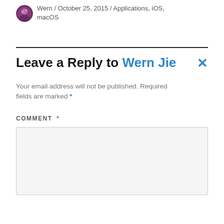Wern / October 25, 2015 / Applications, iOS, macOS
Leave a Reply to Wern Jie
Your email address will not be published. Required fields are marked *
COMMENT *
[Figure (other): Empty comment text area input field]